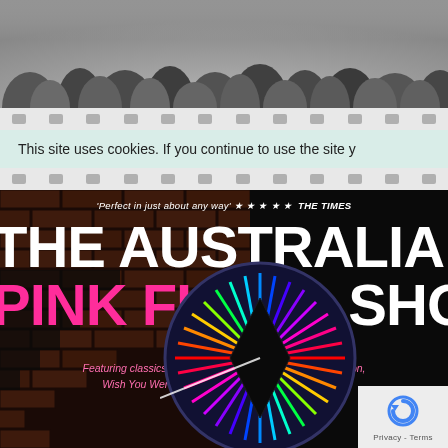[Figure (photo): Grayscale photo of concert audience viewed from behind, heads silhouetted]
This site uses cookies. If you continue to use the site y
[Figure (illustration): Concert poster for The Australian Pink Floyd Show on black background with brick wall, prism/wheel graphic, review quote and star rating from The Times]
'Perfect in just about any way' ★ ★ ★ ★ ★ THE TIMES
THE AUSTRALIAN PINK FLOYD SHOW
Featuring classics from Meddle, The Dark Side of The Moon, Wish You Were Here, Animals, The Wall and more...